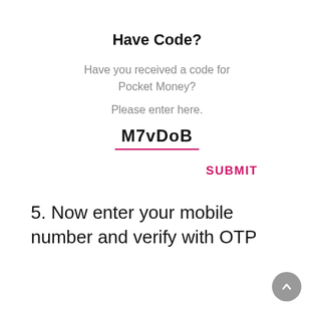Have Code?
Have you received a code for Pocket Money?
Please enter here.
M7vDoB
SUBMIT
5. Now enter your mobile number and verify with OTP